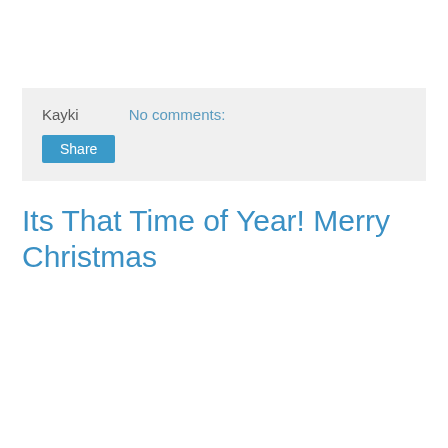Kayki    No comments:
Share
Its That Time of Year! Merry Christmas
Couldn't load plugin.